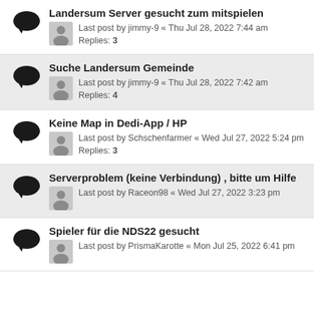Landersum Server gesucht zum mitspielen
Last post by jimmy-9 « Thu Jul 28, 2022 7:44 am
Replies: 3
Suche Landersum Gemeinde
Last post by jimmy-9 « Thu Jul 28, 2022 7:42 am
Replies: 4
Keine Map in Dedi-App / HP
Last post by Schschenfarmer « Wed Jul 27, 2022 5:24 pm
Replies: 3
Serverproblem (keine Verbindung) , bitte um Hilfe
Last post by Raceon98 « Wed Jul 27, 2022 3:23 pm
Spieler für die NDS22 gesucht
Last post by PrismaKarotte « Mon Jul 25, 2022 6:41 pm